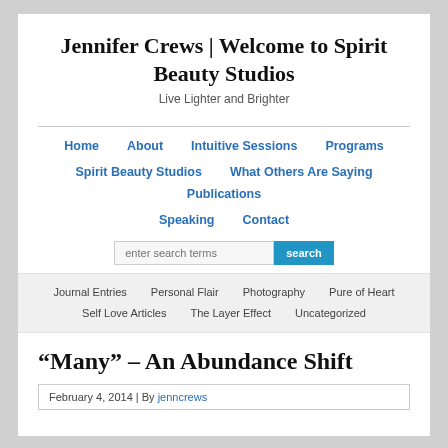Jennifer Crews | Welcome to Spirit Beauty Studios
Live Lighter and Brighter
Home
About
Intuitive Sessions
Programs
Spirit Beauty Studios
What Others Are Saying
Publications
Speaking
Contact
Journal Entries
Personal Flair
Photography
Pure of Heart
Self Love Articles
The Layer Effect
Uncategorized
“Many” – An Abundance Shift
February 4, 2014 | By jenncrews